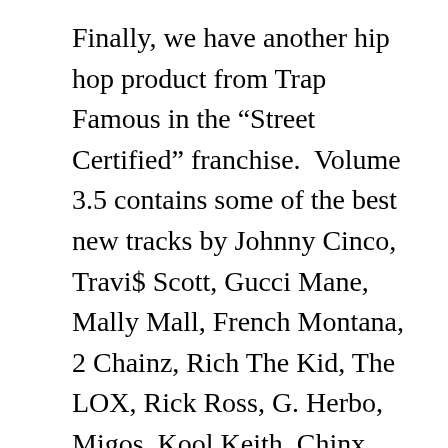Finally, we have another hip hop product from Trap Famous in the “Street Certified” franchise.  Volume 3.5 contains some of the best new tracks by Johnny Cinco, Travi$ Scott, Gucci Mane, Mally Mall, French Montana, 2 Chainz, Rich The Kid, The LOX, Rick Ross, G. Herbo, Migos, Kool Keith, Chinx, Master P, Lil Bibby, Ty Dolla $ign, Rockie Fresh, Problem, Bad Lucc, Chief Keef, and other top hood emcees.  These mixtapes always bring you the newest records to hit the block first.
That’s all we have for our fans in the music department while finishing up all the shopping that comes with back to school.  Hopefully, most of you kept within your budget by hitting